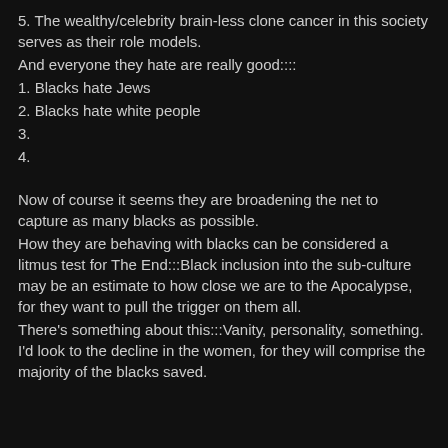5. The wealthy/celebrity brain-less clone cancer in this society serves as their role models.
And everyone they hate are really good::::
1. Blacks hate Jews
2. Blacks hate white people
3.
4.
Now of course it seems they are broadening the net to capture as many blacks as possible.
How they are behaving with blacks can be considered a litmus test for The End:::Black inclusion into the sub-culture may be an estimate to how close we are to the Apocalypse, for they want to pull the trigger on them all.
There's something about this:::Vanity, personality, something. I'd look to the decline in the women, for they will comprise the majority of the blacks saved.
They suggest they have used their environment as a "nigger disposal